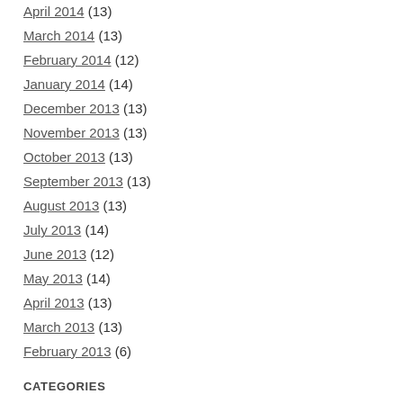April 2014 (13)
March 2014 (13)
February 2014 (12)
January 2014 (14)
December 2013 (13)
November 2013 (13)
October 2013 (13)
September 2013 (13)
August 2013 (13)
July 2013 (14)
June 2013 (12)
May 2013 (14)
April 2013 (13)
March 2013 (13)
February 2013 (6)
CATEGORIES